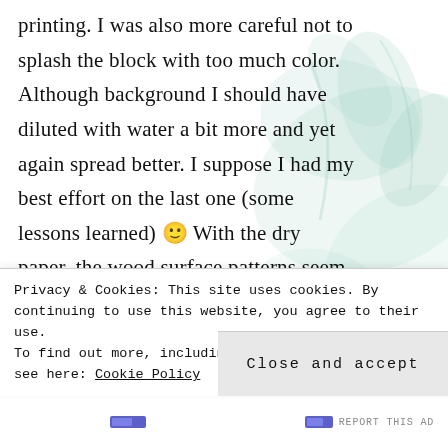printing. I was also more careful not to splash the block with too much color. Although background I should have diluted with water a bit more and yet again spread better. I suppose I had my best effort on the last one (some lessons learned) 🙂 With the dry paper, the wood surface patterns seem more visible, as well as the uneven spread.

I also did a simple one block and one color version print earlier (before this multi
Privacy & Cookies: This site uses cookies. By continuing to use this website, you agree to their use.
To find out more, including how to control cookies, see here: Cookie Policy
Close and accept
REPORT THIS AD